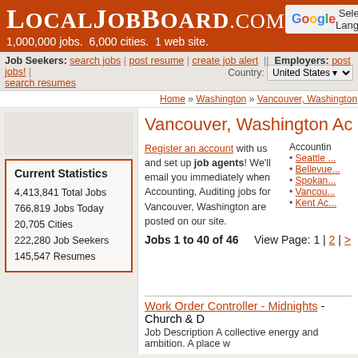LocalJobBoard.com — 1,000,000 jobs. 6,000 cities. 1 web site.
Job Seekers: search jobs | post resume | create job alert  ||  Employers: post jobs! | search resumes  Country: United States
Home » Washington » Vancouver, Washington » Accounting
Current Statistics
4,413,841 Total Jobs
766,819 Jobs Today
20,705 Cities
222,280 Job Seekers
145,547 Resumes
Vancouver, Washington Accounting
Register an account with us and set up job agents! We'll email you immediately when Accounting, Auditing jobs for Vancouver, Washington are posted on our site.
Accounting • Seattle ... • Bellevue... • Spokan... • Vancou... • Kent Ac...
Jobs 1 to 40 of 46     View Page: 1 | 2 | >
Work Order Controller - Midnights - Church & D...
Job Description A collective energy and ambition. A place w...